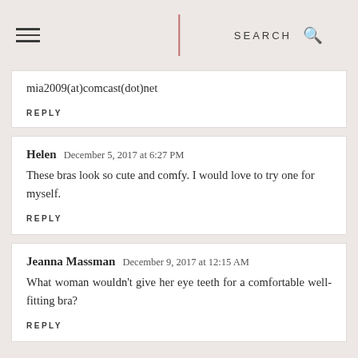SEARCH
mia2009(at)comcast(dot)net
REPLY
Helen  December 5, 2017 at 6:27 PM
These bras look so cute and comfy. I would love to try one for myself.
REPLY
Jeanna Massman  December 9, 2017 at 12:15 AM
What woman wouldn't give her eye teeth for a comfortable well-fitting bra?
REPLY